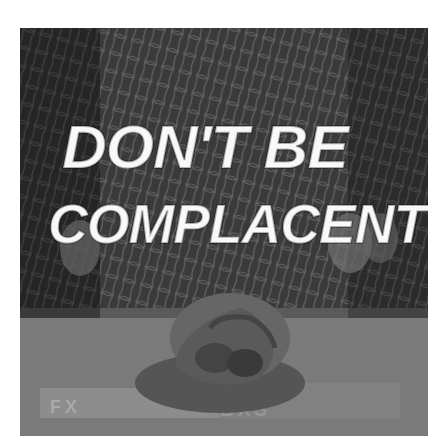[Figure (photo): Black and white photograph of two MMA fighters grappling on the canvas inside a chain-link octagon cage with spectators visible in the background. Bold white handwritten-style text overlaid reads DON'T BE COMPLACENT.]
DON'T BE COMPLACENT